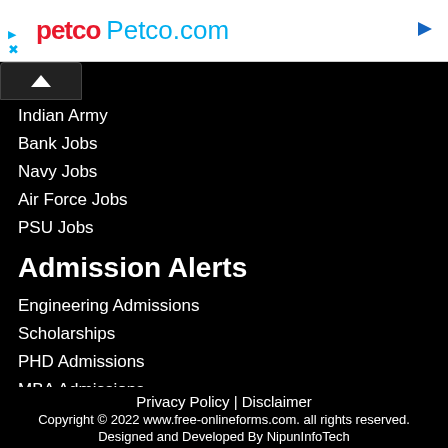[Figure (screenshot): Petco.com advertisement banner with red Petco logo and blue Petco.com text, blue dropdown arrow on right, play and X controls on left]
Indian Army
Bank Jobs
Navy Jobs
Air Force Jobs
PSU Jobs
Admission Alerts
Engineering Admissions
Scholarships
PHD Admissions
MBA Admissions
MBBS Admissions
Hotel-Management
Others
Privacy Policy | Disclaimer
Copyright © 2022 www.free-onlineforms.com. all rights reserved.
Designed and Developed By NipunInfoTech